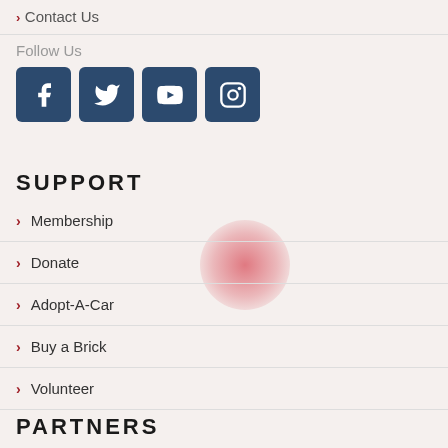Contact Us
Follow Us
[Figure (infographic): Four social media icon buttons: Facebook, Twitter, YouTube, Instagram — dark navy blue rounded square buttons with white icons]
SUPPORT
Membership
Donate
Adopt-A-Car
Buy a Brick
Volunteer
PARTNERS